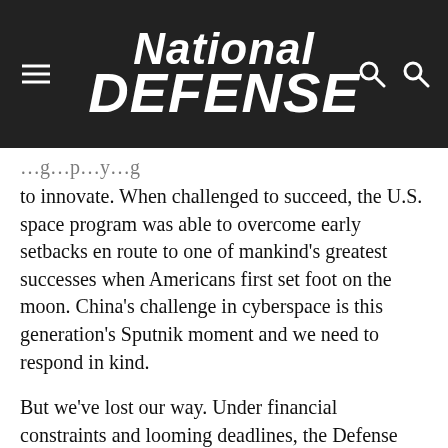National Defense
to innovate. When challenged to succeed, the U.S. space program was able to overcome early setbacks en route to one of mankind's greatest successes when Americans first set foot on the moon. China's challenge in cyberspace is this generation's Sputnik moment and we need to respond in kind.
But we've lost our way. Under financial constraints and looming deadlines, the Defense Department is forced to be as cautious as possible to demonstrate constant progress for their congressional funders. However, policymakers should be continually